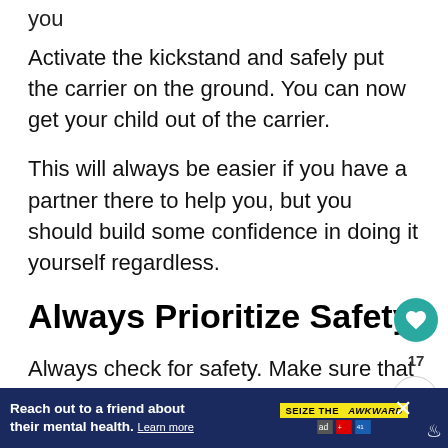you
Activate the kickstand and safely put the carrier on the ground. You can now get your child out of the carrier.
This will always be easier if you have a partner there to help you, but you should build some confidence in doing it yourself regardless.
Always Prioritize Safety
Always check for safety. Make sure that all
[Figure (infographic): Advertisement banner at the bottom: dark blue background with text 'Reach out to a friend about their mental health. Learn more' and a yellow badge reading 'SEIZE THE AWKWARD' with logos]
Reach out to a friend about their mental health. Learn more | SEIZE THE AWKWARD